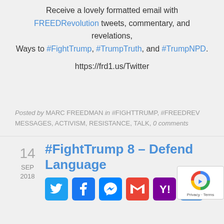Receive a lovely formatted email with FREEDRevolution tweets, commentary, and revelations, Ways to #FightTrump, #TrumpTruth, and #TrumpNPD.
https://frd1.us/Twitter
Posted by MARC FREEDMAN in #FIGHTTRUMP, #FREEDREV MESSAGES, ACTIVISM, RESISTANCE, TALK, 0 comments
#FightTrump 8 – Defend Language
[Figure (other): Social media share buttons: Twitter, Facebook, Messenger, Gmail, Yahoo, and More/Share icons]